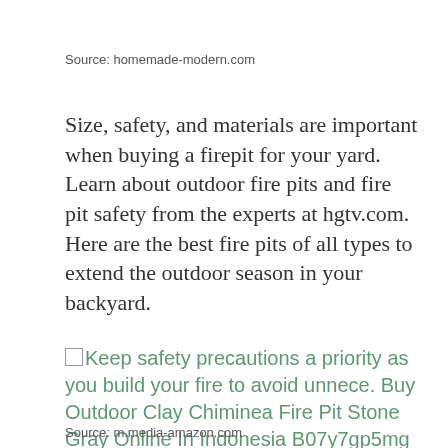Source: homemade-modern.com
Size, safety, and materials are important when buying a firepit for your yard. Learn about outdoor fire pits and fire pit safety from the experts at hgtv.com. Here are the best fire pits of all types to extend the outdoor season in your backyard.
[Figure (other): Broken image placeholder followed by link text: Keep safety precautions a priority as you build your fire to avoid unnece. Buy Outdoor Clay Chiminea Fire Pit Stone Gray Online In Indonesia B07y7gp5mg]
Source: m.media-amazon.com